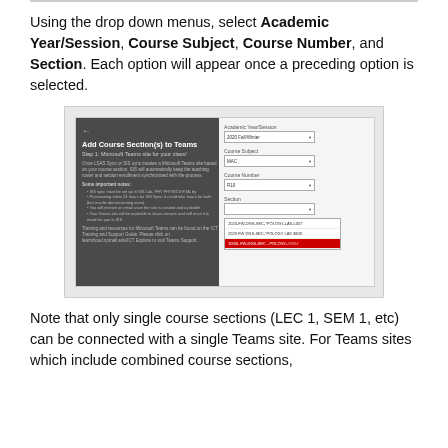Using the drop down menus, select Academic Year/Session, Course Subject, Course Number, and Section. Each option will appear once a preceding option is selected.
[Figure (screenshot): Screenshot of 'Add Course Section(s) to Teams' dialog with dropdown menus for Academic Year/Session (2020 Fall/Winter selected), Course Subject (MAC), Course Number (R10), and Section, showing a dropdown list with three options where the bottom one is highlighted in red.]
Note that only single course sections (LEC 1, SEM 1, etc) can be connected with a single Teams site. For Teams sites which include combined course sections, please email to Shared...